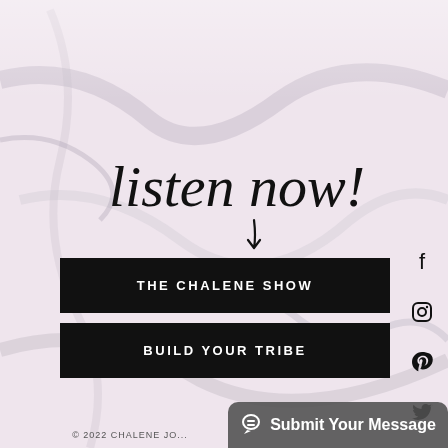[Figure (illustration): Pink and white marble textured background with grey veins]
listen now!
THE CHALENE SHOW
BUILD YOUR TRIBE
[Figure (infographic): Social media icons on the right side: Facebook, Instagram, Pinterest, Twitter, YouTube]
© 2022 CHALENE JO...
Submit Your Message